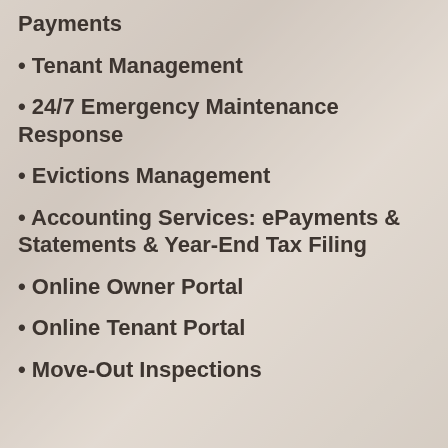Payments
Tenant Management
24/7 Emergency Maintenance Response
Evictions Management
Accounting Services: ePayments & Statements & Year-End Tax Filing
Online Owner Portal
Online Tenant Portal
Move-Out Inspections